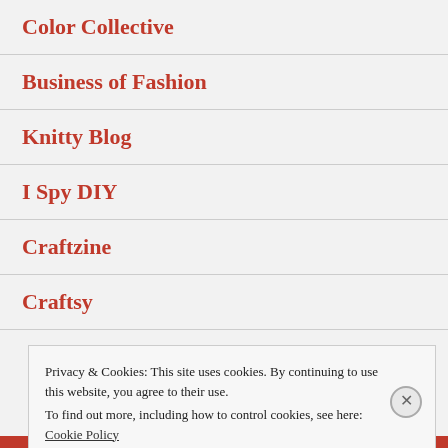Color Collective
Business of Fashion
Knitty Blog
I Spy DIY
Craftzine
Craftsy
Privacy & Cookies: This site uses cookies. By continuing to use this website, you agree to their use.
To find out more, including how to control cookies, see here: Cookie Policy
Close and accept